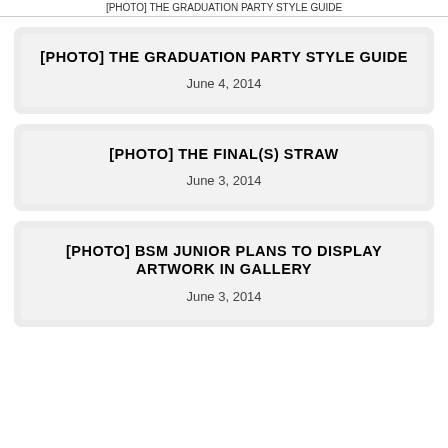[PHOTO] THE GRADUATION PARTY STYLE GUIDE
[PHOTO] THE GRADUATION PARTY STYLE GUIDE
June 4, 2014
[PHOTO] THE FINAL(S) STRAW
June 3, 2014
[PHOTO] BSM JUNIOR PLANS TO DISPLAY ARTWORK IN GALLERY
June 3, 2014